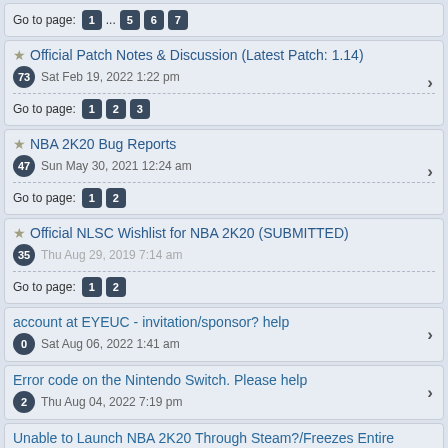Go to page: 1 ... 5 6 7
Official Patch Notes & Discussion (Latest Patch: 1.14)
73 Sat Feb 19, 2022 1:22 pm
Go to page: 1 2 3
NBA 2K20 Bug Reports
47 Sun May 30, 2021 12:24 am
Go to page: 1 2
Official NLSC Wishlist for NBA 2K20 (SUBMITTED)
35 Thu Aug 29, 2019 7:14 am
Go to page: 1 2
account at EYEUC - invitation/sponsor? help
0 Sat Aug 06, 2022 1:41 am
Error code on the Nintendo Switch. Please help
2 Thu Aug 04, 2022 7:19 pm
Unable to Launch NBA 2K20 Through Steam?/Freezes Entire Computer?
4 Thu Jul 07, 2022 7:53 am
NBA 2K20 - moving saves to new PC